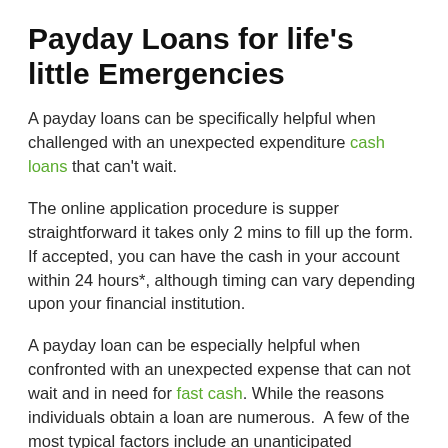Payday Loans for life's little Emergencies
A payday loans can be specifically helpful when challenged with an unexpected expenditure cash loans that can't wait.
The online application procedure is supper straightforward it takes only 2 mins to fill up the form. If accepted, you can have the cash in your account within 24 hours*, although timing can vary depending upon your financial institution.
A payday loan can be especially helpful when confronted with an unexpected expense that can not wait and in need for fast cash. While the reasons individuals obtain a loan are numerous.  A few of the most typical factors include an unanticipated veterinarian bill, car, or emergency home